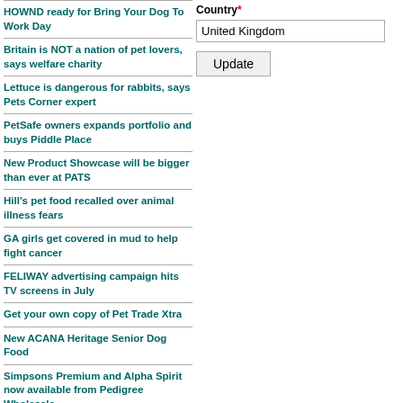HOWND ready for Bring Your Dog To Work Day
Britain is NOT a nation of pet lovers, says welfare charity
Lettuce is dangerous for rabbits, says Pets Corner expert
PetSafe owners expands portfolio and buys Piddle Place
New Product Showcase will be bigger than ever at PATS
Hill's pet food recalled over animal illness fears
GA girls get covered in mud to help fight cancer
FELIWAY advertising campaign hits TV screens in July
Get your own copy of Pet Trade Xtra
New ACANA Heritage Senior Dog Food
Simpsons Premium and Alpha Spirit now available from Pedigree Wholesale
New appointment at Grove Pet Foods
'Fish 'n' Hips' chewy treats fox
Country*
United Kingdom
Update